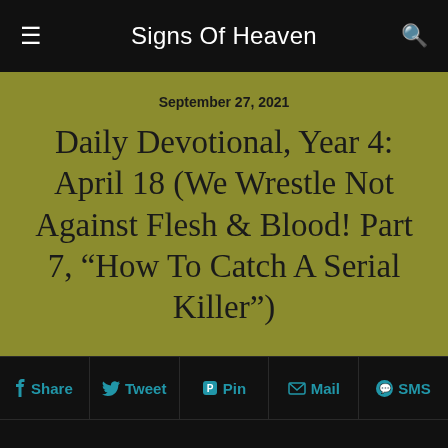Signs Of Heaven
September 27, 2021
Daily Devotional, Year 4: April 18 (We Wrestle Not Against Flesh & Blood! Part 7, “How To Catch A Serial Killer”)
Share  Tweet  Pin  Mail  SMS
Click credit links below each pic, for licensing names/details/tags/etc.. Most pics cropped/reduced in